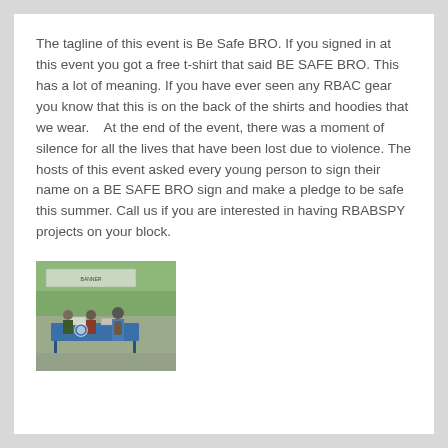The tagline of this event is Be Safe BRO. If you signed in at this event you got a free t-shirt that said BE SAFE BRO. This has a lot of meaning. If you have ever seen any RBAC gear you know that this is on the back of the shirts and hoodies that we wear.    At the end of the event, there was a moment of silence for all the lives that have been lost due to violence. The hosts of this event asked every young person to sign their name on a BE SAFE BRO sign and make a pledge to be safe this summer. Call us if you are interested in having RBABSPY projects on your block.
[Figure (photo): Outdoor community event photo showing people standing near a table with a blue tablecloth, with trees and a banner visible in the background.]